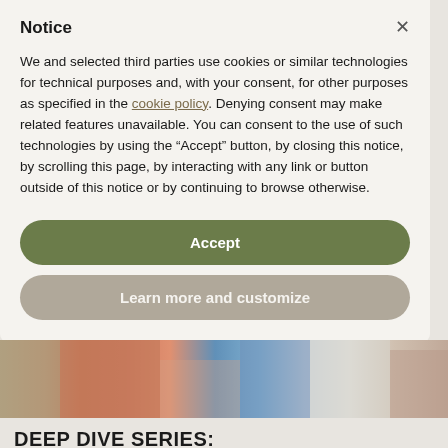Notice
We and selected third parties use cookies or similar technologies for technical purposes and, with your consent, for other purposes as specified in the cookie policy. Denying consent may make related features unavailable. You can consent to the use of such technologies by using the “Accept” button, by closing this notice, by scrolling this page, by interacting with any link or button outside of this notice or by continuing to browse otherwise.
Accept
Learn more and customize
[Figure (photo): Partial view of a person in athletic wear, blue top visible, background appears to be a gym or sports facility]
DEEP DIVE SERIES: